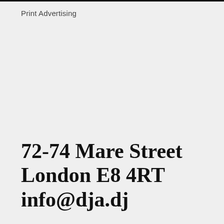Print Advertising
72-74 Mare Street
London E8 4RT
info@dja.dj